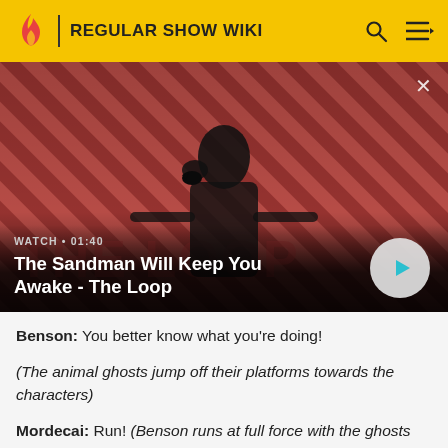REGULAR SHOW WIKI
[Figure (screenshot): Video thumbnail showing a dark-cloaked figure with a crow on the shoulder against a red and dark diagonal striped background. Overlay text shows 'WATCH • 01:40' and title 'The Sandman Will Keep You Awake - The Loop' with a play button.]
Benson: You better know what you're doing!
(The animal ghosts jump off their platforms towards the characters)
Mordecai: Run! (Benson runs at full force with the ghosts